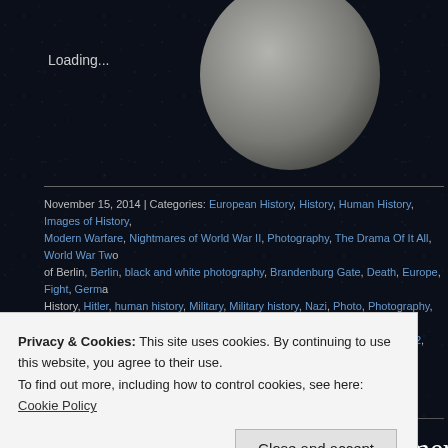Loading...
November 15, 2014 | Categories: European History, History, Human History, Images of History, Modern Warfare, Nightmares of World War II, Photography, The Drama Of It All, World War Two, of Berlin, Berlin, black and white photography, Brandenburg Gate, Death, Europe, Fight, German History, Hitler, human history, Military, Military history, Nazi, Photo, Photography, Politics, Power, War, Warfare, World History, World war 2, World War II, World War two, WW2, wwii | Leave a c
Hiter, Speer and entourage mesmerized at the Gustav. Largest and Heaviest artillery ever u ca. 1941
Privacy & Cookies: This site uses cookies. By continuing to use this website, you agree to their use.
To find out more, including how to control cookies, see here: Cookie Policy
Close and accept